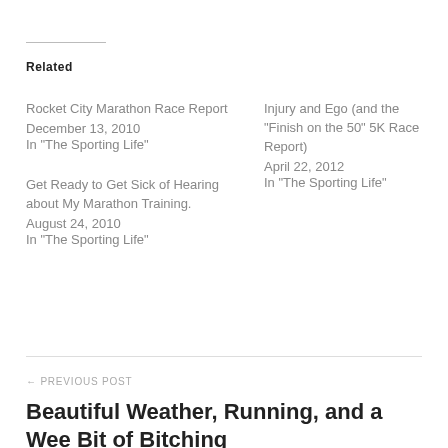Related
Rocket City Marathon Race Report
December 13, 2010
In "The Sporting Life"
Injury and Ego (and the "Finish on the 50" 5K Race Report)
April 22, 2012
In "The Sporting Life"
Get Ready to Get Sick of Hearing about My Marathon Training.
August 24, 2010
In "The Sporting Life"
← PREVIOUS POST
Beautiful Weather, Running, and a Wee Bit of Bitching